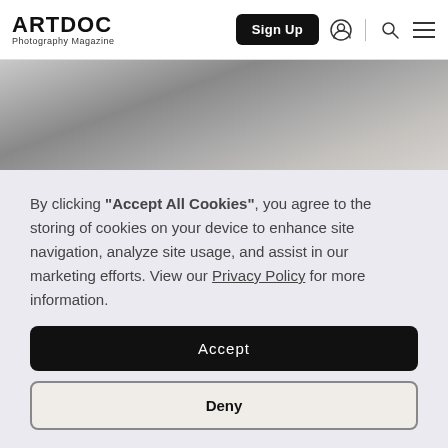ARTDOC Photography Magazine — Sign Up
[Figure (photo): Grayscale abstract/landscape photo used as hero banner behind cookie consent overlay]
By clicking "Accept All Cookies", you agree to the storing of cookies on your device to enhance site navigation, analyze site usage, and assist in our marketing efforts. View our Privacy Policy for more information.
Accept
Deny
Preferences